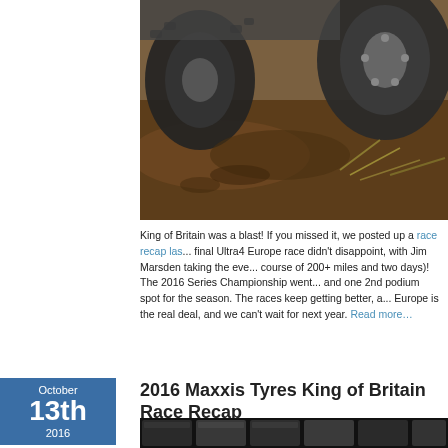[Figure (photo): Close-up of a large off-road vehicle with muddy tires driving over a dirt mound with dry grass]
King of Britain was a blast! If you missed it, we posted up a race recap las... final Ultra4 Europe race didn't disappoint, with Jim Marsden taking the eve... course of 200+ miles and two days)! The 2016 Series Championship went... and one 2nd podium spot for the season. The races keep getting better, a... Europe is the real deal, and we can't wait for next year. Read more…
2016 Maxxis Tyres King of Britain Race Recap
[Figure (photo): Dark image showing mechanical/tire parts arranged in a row]